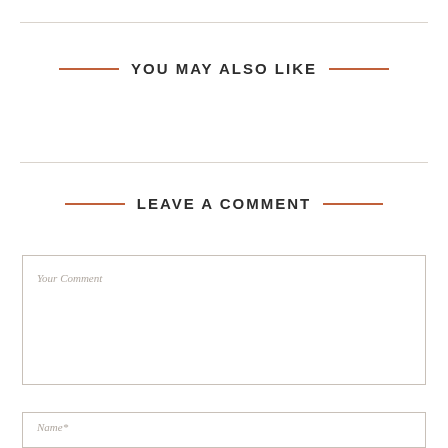YOU MAY ALSO LIKE
LEAVE A COMMENT
Your Comment
Name*